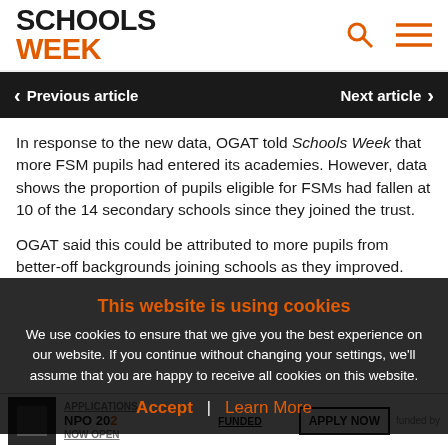[Figure (logo): Schools Week logo with SCHOOLS in black bold and WEEK in orange bold]
Previous article  |  Next article
In response to the new data, OGAT told Schools Week that more FSM pupils had entered its academies. However, data shows the proportion of pupils eligible for FSMs had fallen at 10 of the 14 secondary schools since they joined the trust.
OGAT said this could be attributed to more pupils from better-off backgrounds joining schools as they improved.
This website is using cookies
We use cookies to ensure that we give you the best experience on our website. If you continue without changing your settings, we'll assume that you are happy to receive all cookies on this website.
Accept | Learn More